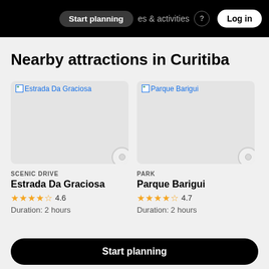Start planning   es & activities   Log in
Nearby attractions in Curitiba
[Figure (screenshot): Card for Estrada Da Graciosa attraction with broken image placeholder, category SCENIC DRIVE, rating 4.6 stars, Duration: 2 hours]
[Figure (screenshot): Card for Parque Barigui attraction with broken image placeholder, category PARK, rating 4.7 stars, Duration: 2 hours]
Start planning